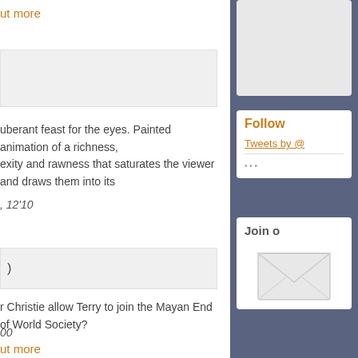ut more
uberant feast for the eyes. Painted animation of a richness, exity and rawness that saturates the viewer and draws them into its
, 12'10
)
r Christie allow Terry to join the Mayan End of World Society?
00
ut more
Follow
Tweets by @
Join o
[Figure (illustration): Envelope icon for email newsletter signup]